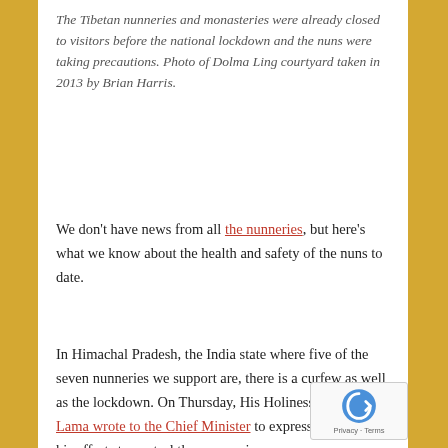The Tibetan nunneries and monasteries were already closed to visitors before the national lockdown and the nuns were taking precautions. Photo of Dolma Ling courtyard taken in 2013 by Brian Harris.
We don't have news from all the nunneries, but here's what we know about the health and safety of the nuns to date.
In Himachal Pradesh, the India state where five of the seven nunneries we support are, there is a curfew as well as the lockdown. On Thursday, His Holiness the Dalai Lama wrote to the Chief Minister to express support for his efforts to control the coronavirus.
In Kangra district, home to Dolma Ling, Shugsep, Tilokpur, and Geden Choeling nunneries, people were allowed out to buy essentials from 7 to 11 am. But...